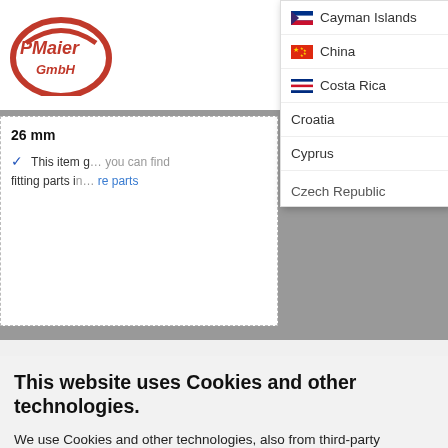[Figure (screenshot): P.Maier GmbH website header with logo, navigation icons, and a dropdown country selector showing: Cayman Islands (flag), China (flag), Costa Rica (flag), Croatia, Cyprus, Czech Republic (partially visible). Behind the dropdown is a product page showing '26 mm' and item description text.]
This website uses Cookies and other technologies.
We use Cookies and other technologies, also from third-party suppliers, to ensure the basic functionalities and analyze the usage of our website in order to provide you with the best shopping experience possible. You can find more information in our Privacy Notice.
Accept all
Only Essentials
More options